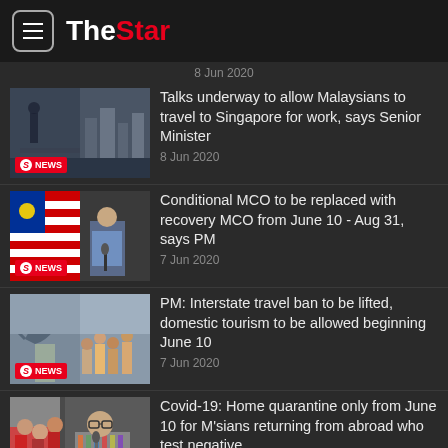The Star
8 Jun 2020
Talks underway to allow Malaysians to travel to Singapore for work, says Senior Minister
8 Jun 2020
Conditional MCO to be replaced with recovery MCO from June 10 - Aug 31, says PM
7 Jun 2020
PM: Interstate travel ban to be lifted, domestic tourism to be allowed beginning June 10
7 Jun 2020
Covid-19: Home quarantine only from June 10 for M'sians returning from abroad who test negative
7 Jun 2020